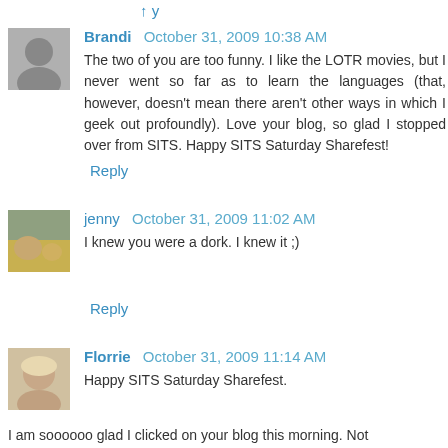Reply (truncated link at top)
Brandi   October 31, 2009 10:38 AM
The two of you are too funny. I like the LOTR movies, but I never went so far as to learn the languages (that, however, doesn't mean there aren't other ways in which I geek out profoundly). Love your blog, so glad I stopped over from SITS. Happy SITS Saturday Sharefest!
Reply
jenny   October 31, 2009 11:02 AM
I knew you were a dork. I knew it ;)
Reply
Florrie   October 31, 2009 11:14 AM
Happy SITS Saturday Sharefest.

I am soooooo glad I clicked on your blog this morning. Not